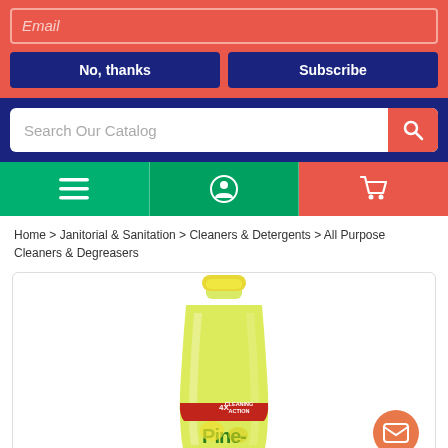Email
No, thanks
Subscribe
Search Our Catalog
[Figure (screenshot): Navigation bar with hamburger menu icon (green), profile icon (green), and cart icon (coral/red)]
Home > Janitorial & Sanitation > Cleaners & Detergents > All Purpose Cleaners & Degreasers
[Figure (photo): Pine-Sol cleaning product bottle with yellow liquid, yellow cap, red label band reading 4X CLEANING ACTION, and Pine-Sol logo visible at bottom]